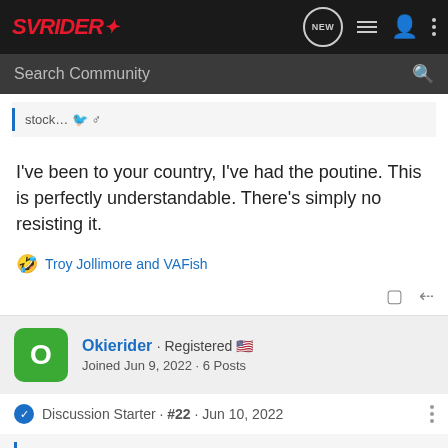SVRider - navigation bar with NEW, list, user, and menu icons
Search Community
stock... 🐦♂
I've been to your country, I've had the poutine. This is perfectly understandable. There's simply no resisting it.
Troy Jollimore and VAFish
Okierider · Registered 🇺🇸
Joined Jun 9, 2022 · 6 Posts
Discussion Starter · #22 · Jun 10, 2022
Troy Jollimore said: ⊕